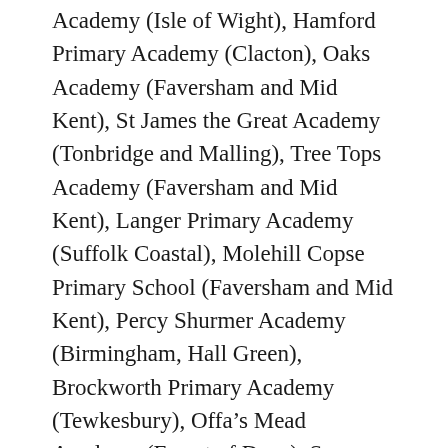Academy (Isle of Wight), Hamford Primary Academy (Clacton), Oaks Academy (Faversham and Mid Kent), St James the Great Academy (Tonbridge and Malling), Tree Tops Academy (Faversham and Mid Kent), Langer Primary Academy (Suffolk Coastal), Molehill Copse Primary School (Faversham and Mid Kent), Percy Shurmer Academy (Birmingham, Hall Green), Brockworth Primary Academy (Tewkesbury), Offa's Mead Academy (Forest of Dean), Severn View Academy (Stroud), Noel Park Primary School (Hornsey and Wood Green), Trinity Primary Academy (Hornsey and Wood Green), Hall Road Academy (Kingston upon Hull North), Newington Academy (Kingston upon Hull West and Hessle), The Green Way Academy (Kingston upon Hull